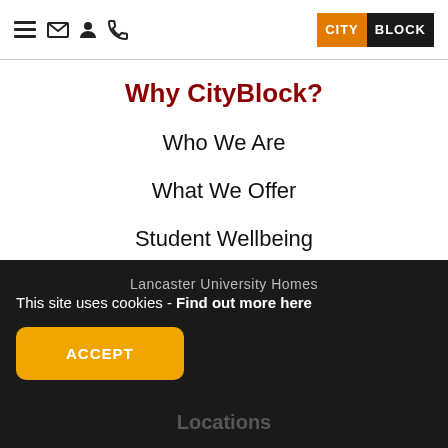CityBlock navigation header with hamburger menu, email, user, phone icons and CityBlock logo
Why CityBlock?
Who We Are
What We Offer
Student Wellbeing
Sustainability
FAQs
Lancaster University Homes
Locations
This site uses cookies - Find out more here
ACCEPT